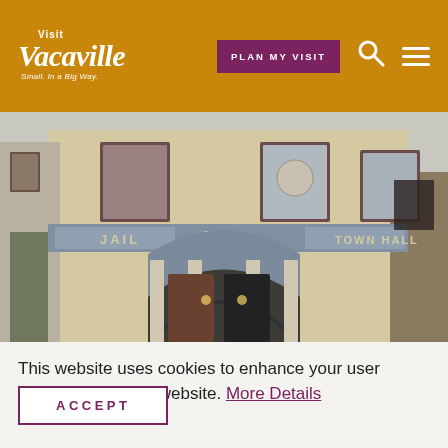Visit Vacaville - Small. In a Big Way. | PLAN MY VISIT
[Figure (photo): Exterior photo of a historic two-story building in Vacaville with arched entrance. Signs on the building read JAIL, FIRE DEPT, and TOWN HALL. The building has cream/beige painted brick exterior with dark red-framed windows and grey-blue architectural details.]
This website uses cookies to enhance your user experience on our website. More Details
ACCEPT